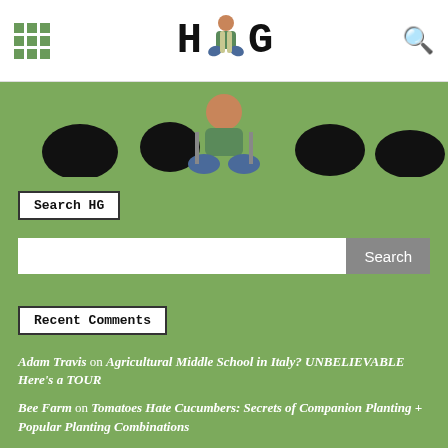[Figure (logo): HG website logo with grid icon on left, stylized HG text with cartoon figure in center, green search icon on right]
[Figure (illustration): Partial banner illustration showing cartoon figures on green background]
Search HG
Search (search bar with button)
Recent Comments
Adam Travis on Agricultural Middle School in Italy? UNBELIEVABLE Here's a TOUR
Bee Farm on Tomatoes Hate Cucumbers: Secrets of Companion Planting + Popular Planting Combinations
Why I don't owe you an explanation of my NO. - Krystal Trammell on Why You